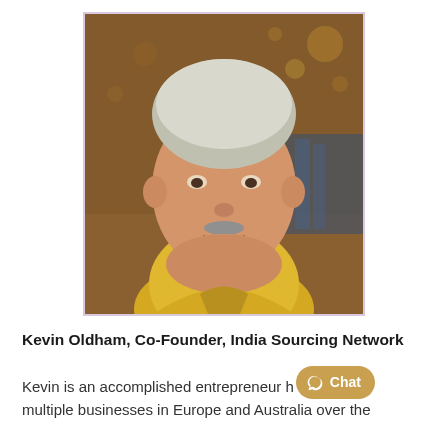[Figure (photo): Headshot of Kevin Oldham, an older man with white/grey hair and a grey moustache, wearing a yellow polo shirt, smiling, with a warm bokeh background of amber lights.]
Kevin Oldham, Co-Founder, India Sourcing Network
Kevin is an accomplished entrepreneur h... multiple businesses in Europe and Australia over the